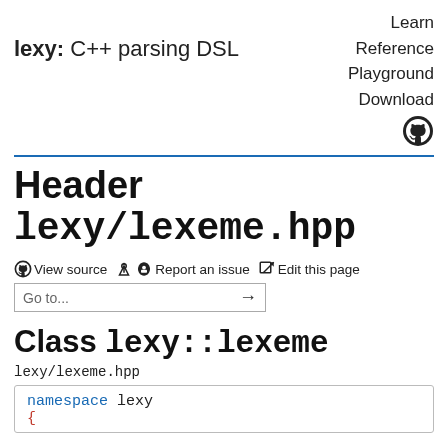lexy: C++ parsing DSL
Learn
Reference
Playground
Download
Header lexy/lexeme.hpp
View source  Report an issue  Edit this page
Go to...
Class lexy::lexeme
lexy/lexeme.hpp
namespace lexy
{